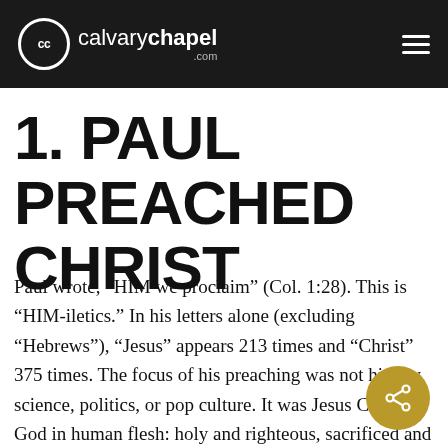calvarychapel.com
1. PAUL PREACHED CHRIST
Paul wrote, “HIM we proclaim” (Col. 1:28). This is “HIM-iletics.” In his letters alone (excluding “Hebrews”), “Jesus” appears 213 times and “Christ” 375 times. The focus of his preaching was not history, science, politics, or pop culture. It was Jesus Christ – God in human flesh: holy and righteous, sacrificed and risen, ascended and exalted. In the same way, we must emphasize and exalt the Lord Jesus, looking for Him in the Scriptures